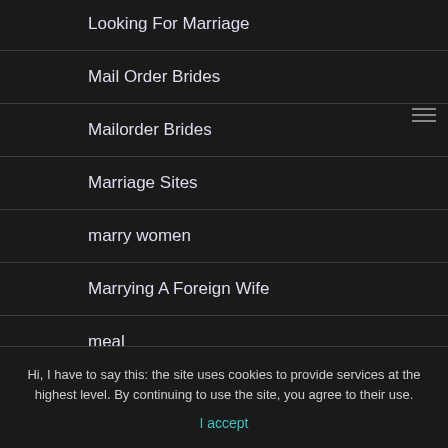Looking For Marriage
Mail Order Brides
Mailorder Brides
Marriage Sites
marry women
Marrying A Foreign Wife
meal
Hi, I have to say this: the site uses cookies to provide services at the highest level. By continuing to use the site, you agree to their use.
I accept